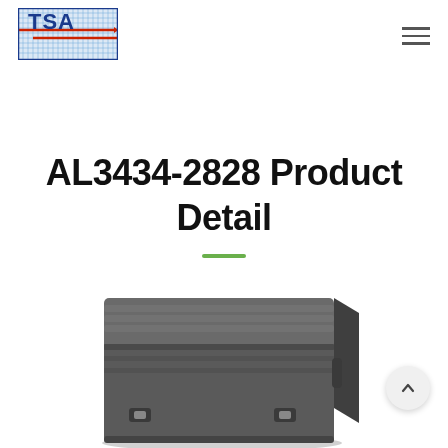[Figure (logo): TSA logo — blue grid background with red horizontal lines and TSA letters in blue]
AL3434-2828 Product Detail
[Figure (photo): Dark gray rugged hard case / transit case with ribbed lid and latches, viewed from a front-right angle]